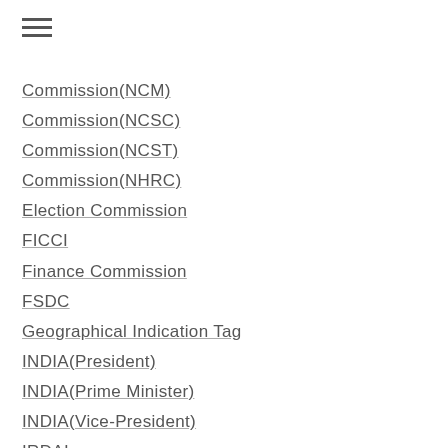Commission(NCM)
Commission(NCSC)
Commission(NCST)
Commission(NHRC)
Election Commission
FICCI
Finance Commission
FSDC
Geographical Indication Tag
INDIA(President)
INDIA(Prime Minister)
INDIA(Vice-President)
IRDAI
Monetary Policy Committee
National Green Tribunal